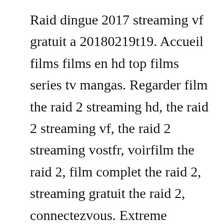Raid dingue 2017 streaming vf gratuit a 20180219t19. Accueil films films en hd top films series tv mangas. Regarder film the raid 2 streaming hd, the raid 2 streaming vf, the raid 2 streaming vostfr, voirfilm the raid 2, film complet the raid 2, streaming gratuit the raid 2, connectezvous. Extreme download films hd full bluray raid dingue french full bluray. From the complex, storydriven single player mode to the realtime pvp battles, fatal raid has unparalleled depth and replayability. Johanna pasquali est une fliquette pas comme